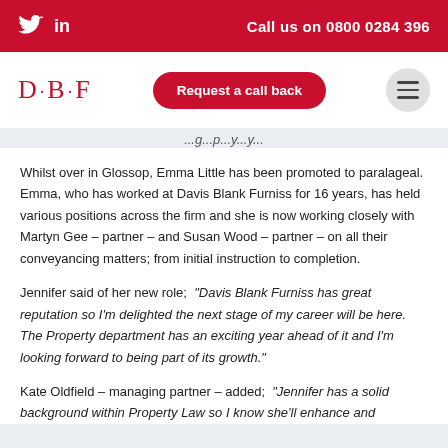Twitter  in  Call us on 0800 0284 396
[Figure (logo): D·B·F law firm logo with Request a call back button and hamburger menu]
...g...p...y...y...
Whilst over in Glossop, Emma Little has been promoted to paralageal. Emma, who has worked at Davis Blank Furniss for 16 years, has held various positions across the firm and she is now working closely with Martyn Gee – partner – and Susan Wood – partner – on all their conveyancing matters; from initial instruction to completion.
Jennifer said of her new role; "Davis Blank Furniss has great reputation so I'm delighted the next stage of my career will be here. The Property department has an exciting year ahead of it and I'm looking forward to being part of its growth."
Kate Oldfield – managing partner – added; "Jennifer has a solid background within Property Law so I know she'll enhance and